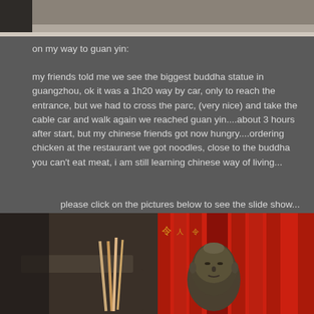[Figure (photo): Top portion of a photo showing what appears to be stone or concrete architectural elements, partially cropped at the top of the page.]
on my way to guan yin:
my friends told me we see the biggest buddha statue in guangzhou, ok it was a 1h20 way by car, only to reach the entrance, but we had to cross the parc, (very nice) and take the cable car and walk again we reached guan yin....about 3 hours after start, but my chinese friends got now hungry....ordering chicken at the restaurant we got noodles, close to the buddha you can't eat meat, i am still learning chinese way of living...
please click on the pictures below to see the slide show...
[Figure (photo): Two side-by-side photos at the bottom: left shows Chinese temple/restaurant items including a pot and chopsticks; right shows a bronze Buddha head statue against red Chinese banners/decorations.]